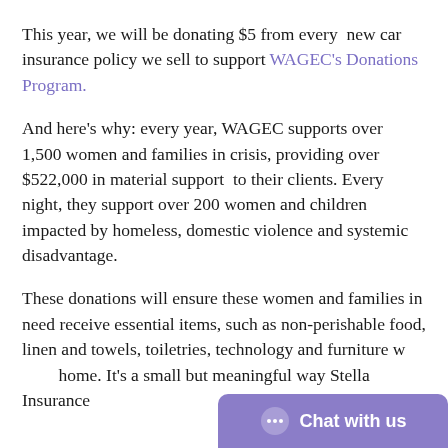This year, we will be donating $5 from every new car insurance policy we sell to support WAGEC's Donations Program.
And here's why: every year, WAGEC supports over 1,500 women and families in crisis, providing over $522,000 in material support to their clients. Every night, they support over 200 women and children impacted by homeless, domestic violence and systemic disadvantage.
These donations will ensure these women and families in need receive essential items, such as non-perishable food, linen and towels, toiletries, technology and furniture w... home. It's a small but meaningful way Stella Insurance